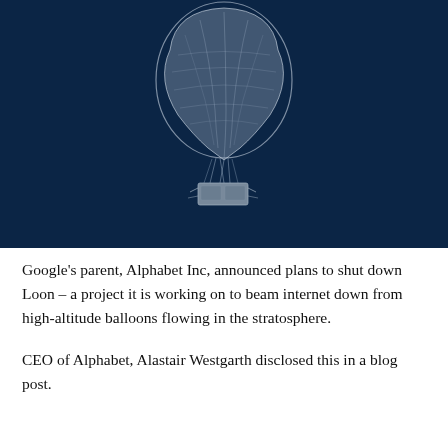[Figure (photo): A high-altitude internet balloon (Loon) floating against a deep dark blue sky. The balloon is white/translucent and tear-drop shaped, with a rectangular equipment payload hanging below it.]
Google's parent, Alphabet Inc, announced plans to shut down Loon – a project it is working on to beam internet down from high-altitude balloons flowing in the stratosphere.
CEO of Alphabet, Alastair Westgarth disclosed this in a blog post.